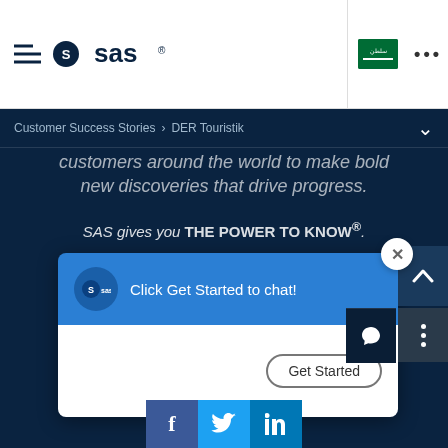[Figure (screenshot): SAS website navigation bar with hamburger menu, SAS logo, Saudi Arabia flag button, and three-dots menu button on white background]
Customer Success Stories > DER Touristik
Customers around the world to make bold new discoveries that drive progress.
SAS gives you THE POWER TO KNOW®.
[Figure (screenshot): Chat widget popup with blue header showing SAS logo and text 'Click Get Started to chat!' with a white body area containing a 'Get Started' button and a close (X) button]
Click Get Started to chat!
[Figure (logo): Social media share bar with Facebook, Twitter, and LinkedIn icons]